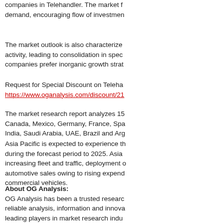companies in Telehandler. The market f… demand, encouraging flow of investmen…
The market outlook is also characterized… activity, leading to consolidation in spec… companies prefer inorganic growth strat…
Request for Special Discount on Teleha… https://www.oganalysis.com/discount/21…
The market research report analyzes 15… Canada, Mexico, Germany, France, Spa… India, Saudi Arabia, UAE, Brazil and Arg…
Asia Pacific is expected to experience th… during the forecast period to 2025. Asia… increasing fleet and traffic, deployment o… automotive sales owing to rising expend… commercial vehicles.
About OG Analysis:
OG Analysis has been a trusted researc… reliable analysis, information and innova… leading players in market research indu… multiple industry verticals. Our core clie… requirements and provides actionable i… decisions.
Contact Us:
Ambarish
Phone: +1 860 777 1418, +91-7337 01…
Email: sales@oganalysis.com